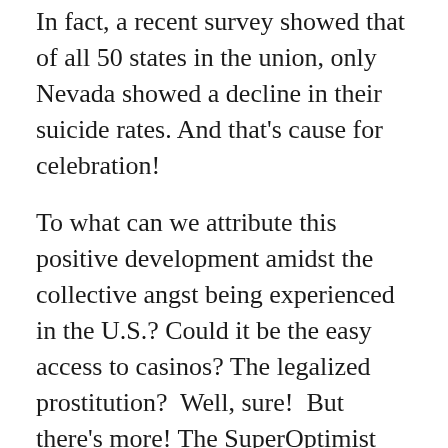In fact, a recent survey showed that of all 50 states in the union, only Nevada showed a decline in their suicide rates. And that's cause for celebration!
To what can we attribute this positive development amidst the collective angst being experienced in the U.S.? Could it be the easy access to casinos? The legalized prostitution?  Well, sure!  But there's more! The SuperOptimist has done some informal research, and among the advantages to bringing your personality disorder and bipolar tendencies to Nevada are the following: